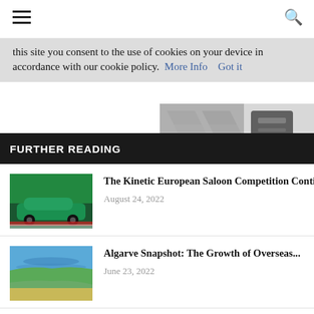Navigation bar with hamburger menu and search icon
this site you consent to the use of cookies on your device in accordance with our cookie policy.  More Info    Got it
FURTHER READING
[Figure (photo): Green Alfa Romeo saloon car on a race track]
The Kinetic European Saloon Competition Continues:...
August 24, 2022
[Figure (photo): Aerial view of Algarve coastline with blue water and green land]
Algarve Snapshot: The Growth of Overseas...
June 23, 2022
[Figure (photo): Tranquil lakeside retreat with mountains and pink sky]
Tranquil Lakeside Retreats That Embody the...
June 10, 2022
[Figure (photo): Grayscale close-up photo of luxury car interior detail]
numerous and noticeable, g roof, super detailed rear ntly imagined frontend do nt the SV Coupé brings. It vith the Bentayga and, I Cullinan.

dug deep through the Land ound some gems. Almost